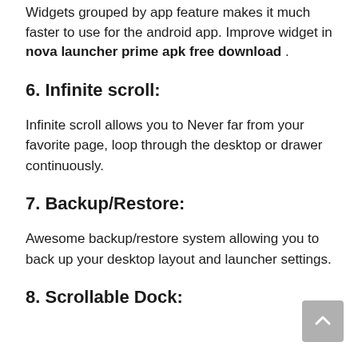Widgets grouped by app feature makes it much faster to use for the android app. Improve widget in nova launcher prime apk free download .
6. Infinite scroll:
Infinite scroll allows you to Never far from your favorite page, loop through the desktop or drawer continuously.
7. Backup/Restore:
Awesome backup/restore system allowing you to back up your desktop layout and launcher settings.
8. Scrollable Dock: